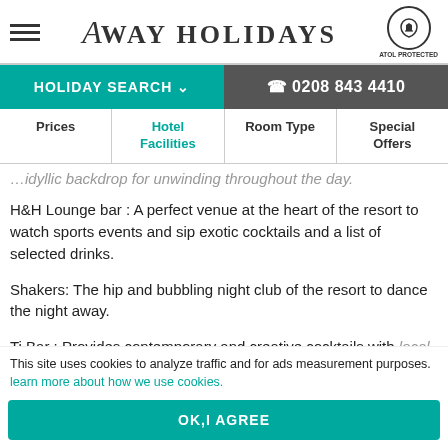Away Holidays — ATOL Protected
HOLIDAY SEARCH | 0208 843 4410
Prices | Hotel Facilities | Room Type | Special Offers
idyllic backdrop for unwinding throughout the day.
H&H Lounge bar : A perfect venue at the heart of the resort to watch sports events and sip exotic cocktails and a list of selected drinks.
Shakers: The hip and bubbling night club of the resort to dance the night away.
Ti Bar : Provides contemporary and creative cocktails with local spices and herbs.
This site uses cookies to analyze traffic and for ads measurement purposes. learn more about how we use cookies.
OK, I AGREE